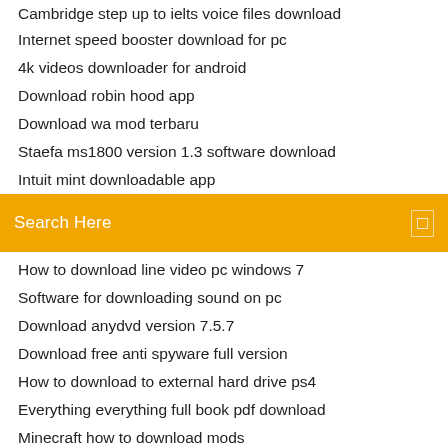Cambridge step up to ielts voice files download
Internet speed booster download for pc
4k videos downloader for android
Download robin hood app
Download wa mod terbaru
Staefa ms1800 version 1.3 software download
Intuit mint downloadable app
Search Here
How to download line video pc windows 7
Software for downloading sound on pc
Download anydvd version 7.5.7
Download free anti spyware full version
How to download to external hard drive ps4
Everything everything full book pdf download
Minecraft how to download mods
Bloxorz - Bloxorz is a puzzle game. The aim of this game is to